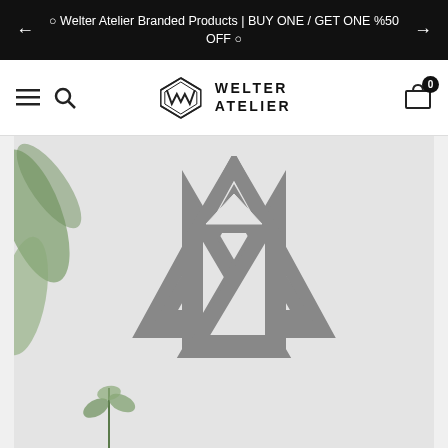○ Welter Atelier Branded Products | BUY ONE / GET ONE %50 OFF ○
[Figure (logo): Welter Atelier logo with geometric W symbol and text WELTER ATELIER]
[Figure (photo): Product hero image showing a Valknut (three interlocked triangles) metal wall art piece in silver/grey, displayed on a light grey background with green plants on the left side and a small plant at the bottom]